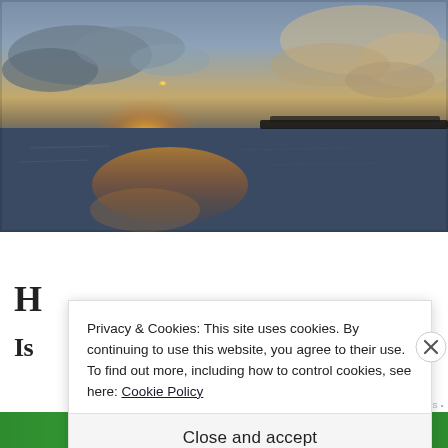[Figure (photo): Sunset over ocean with golden light reflected on water, clouds in sky, island silhouette on horizon]
H... [partially obscured by cookie banner]
Is... [partially obscured by cookie banner]
Privacy & Cookies: This site uses cookies. By continuing to use this website, you agree to their use.
To find out more, including how to control cookies, see here: Cookie Policy
Close and accept